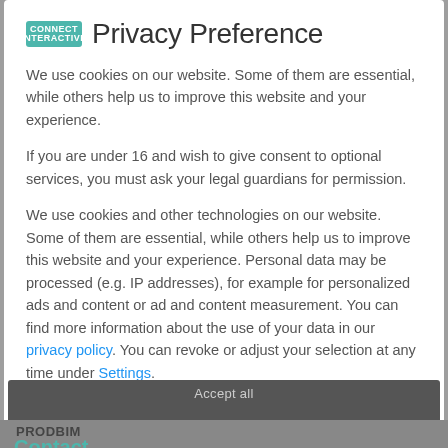Privacy Preference
We use cookies on our website. Some of them are essential, while others help us to improve this website and your experience.
If you are under 16 and wish to give consent to optional services, you must ask your legal guardians for permission.
We use cookies and other technologies on our website. Some of them are essential, while others help us to improve this website and your experience. Personal data may be processed (e.g. IP addresses), for example for personalized ads and content or ad and content measurement. You can find more information about the use of your data in our privacy policy. You can revoke or adjust your selection at any time under Settings.
Essential
Statistics
External Media
Accept all
PRODBIM
Contact